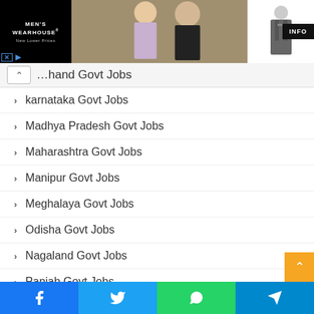[Figure (other): Men's Wearhouse advertisement banner showing couple in formal wear and man in suit]
…hand Govt Jobs (partial, scrolled)
karnataka Govt Jobs
Madhya Pradesh Govt Jobs
Maharashtra Govt Jobs
Manipur Govt Jobs
Meghalaya Govt Jobs
Odisha Govt Jobs
Nagaland Govt Jobs
Panjab Govt Jobs
Rajasthan Govt Job
Sikkim Govt Jobs (partial)
[Figure (other): Social share bar with Facebook, Twitter, WhatsApp, Telegram buttons]